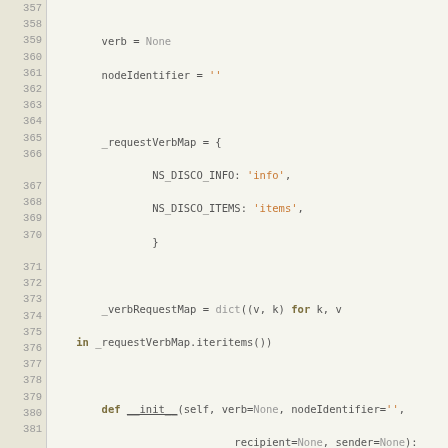[Figure (screenshot): Source code listing showing Python code lines 357–385 with line numbers on left gutter. Code involves _requestVerbMap, _verbRequestMap, __init__ and parseElement methods with syntax highlighting.]